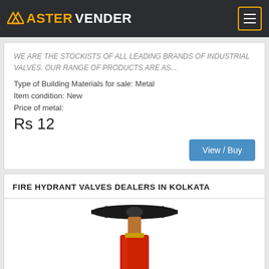ASTERVENDER
WE ARE THE STOCKISTS OF ALL LEADING BRANDS OF INDUSTRIAL VALVES. OUR RANGE OF PRODUCTS ARE AS...
Type of Building Materials for sale: Metal
Item condition: New
Price of metal:
Rs 12
View / Buy
FIRE HYDRANT VALVES DEALERS IN KOLKATA
[Figure (photo): Photo of a fire hydrant valve with black wheel handle on top, brass/copper connector, and red body]